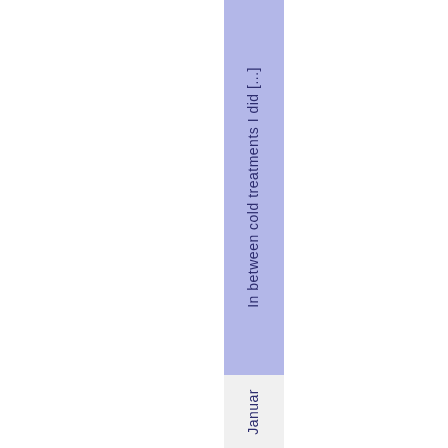In between cold treatments I did [...] January
Januar